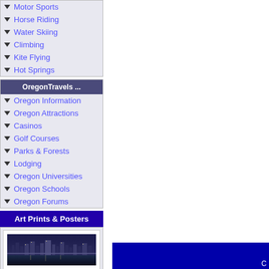Motor Sports
Horse Riding
Water Skiing
Climbing
Kite Flying
Hot Springs
OregonTravels ...
Oregon Information
Oregon Attractions
Casinos
Golf Courses
Parks & Forests
Lodging
Oregon Universities
Oregon Schools
Oregon Forums
Art Prints & Posters
[Figure (photo): Panoramic city/waterfront night photo, likely Portland Oregon]
C